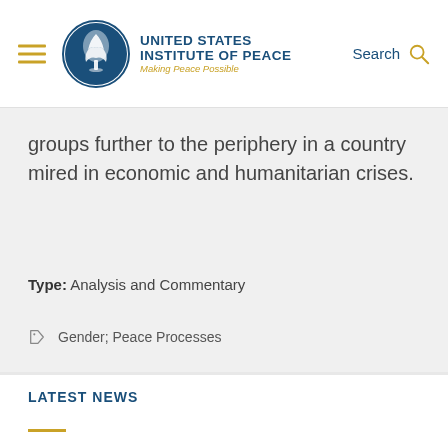United States Institute of Peace — Making Peace Possible
groups further to the periphery in a country mired in economic and humanitarian crises.
Type: Analysis and Commentary
Gender;  Peace Processes
View All Publications
LATEST NEWS